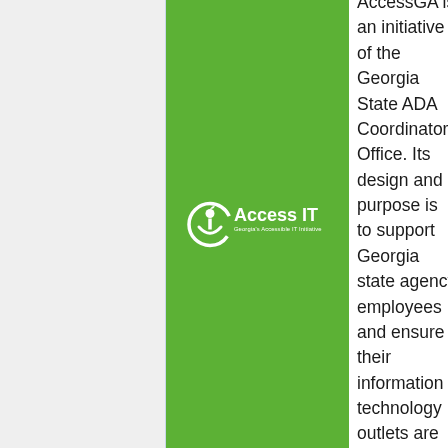[Figure (logo): Access IT - Georgia's Accessible IT Initiative logo, white on green background, with a power button icon incorporating a person figure]
AccessGA is an initiative of the Georgia State ADA Coordinators Office. Its design and purpose is to support Georgia state agency employees and ensure their information technology outlets are accessible to customers possessing a wide range of disabilities